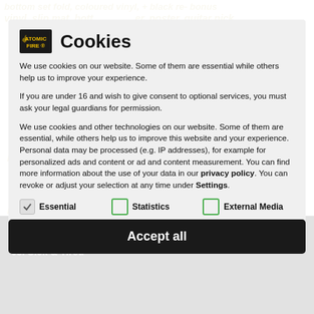Cookies
We use cookies on our website. Some of them are essential while others help us to improve your experience.
If you are under 16 and wish to give consent to optional services, you must ask your legal guardians for permission.
We use cookies and other technologies on our website. Some of them are essential, while others help us to improve this website and your experience. Personal data may be processed (e.g. IP addresses), for example for personalized ads and content or ad and content measurement. You can find more information about the use of your data in our privacy policy. You can revoke or adjust your selection at any time under Settings.
✓ Essential
□ Statistics
□ External Media
Accept all